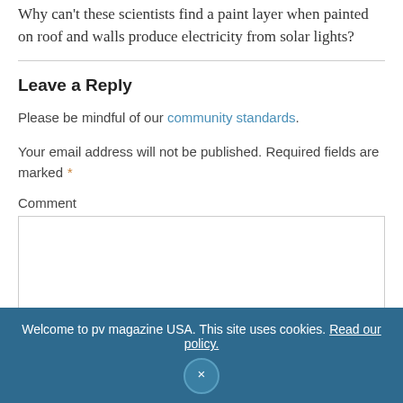Why can't these scientists find a paint layer when painted on roof and walls produce electricity from solar lights?
Leave a Reply
Please be mindful of our community standards.
Your email address will not be published. Required fields are marked *
Comment
Welcome to pv magazine USA. This site uses cookies. Read our policy.